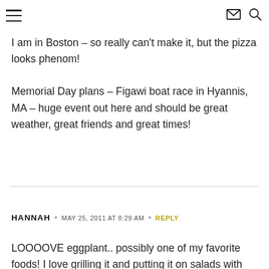Navigation header with hamburger menu, mail icon, and search icon
I am in Boston – so really can't make it, but the pizza looks phenom!

Memorial Day plans – Figawi boat race in Hyannis, MA – huge event out here and should be great weather, great friends and great times!
HANNAH • MAY 25, 2011 AT 8:29 AM • REPLY
LOOOOVE eggplant.. possibly one of my favorite foods! I love grilling it and putting it on salads with